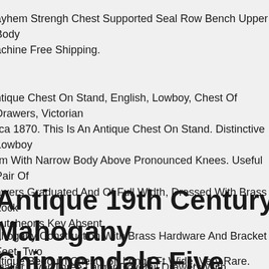ayhem Strengh Chest Supported Seal Row Bench Upper Body achine Free Shipping.
ntique Chest On Stand, English, Lowboy, Chest Of Drawers, Victorian, rca 1870. This Is An Antique Chest On Stand. Distinctive Lowboy rm With Narrow Body Above Pronounced Knees. Useful Pair Of awers Graduated And Of Full Width, Dressed With Brass Lock cutcheons Key Absent.
Antique 19th Century Mahogany Chippendale Five Drawer Chest
ahogany Construction With Brass Hardware And Bracket Feet. Two maller Over Three Larger Dovetail Drawers With Cockbead And Bras ardware. No Key For Locks. Left Side Hardware On Lower Two awers Has Been Modified.
ntique Bedouin Chest  6ft Long3 Ft Wide, Very Rare. Custom Made